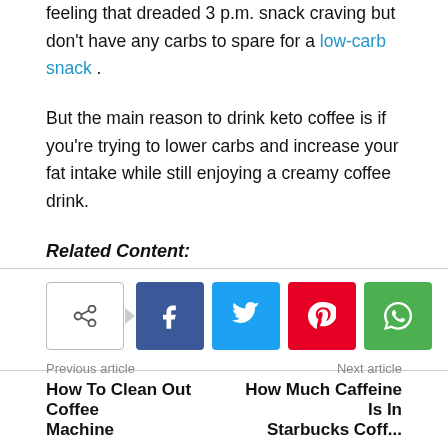feeling that dreaded 3 p.m. snack craving but don't have any carbs to spare for a low-carb snack.
But the main reason to drink keto coffee is if you're trying to lower carbs and increase your fat intake while still enjoying a creamy coffee drink.
Related Content:
[Figure (other): Social share bar with share toggle button and Facebook, Twitter, Pinterest, and WhatsApp icon buttons]
Previous article
How To Clean Out Coffee Machine
Next article
How Much Caffeine Is In Starbucks Coffee...